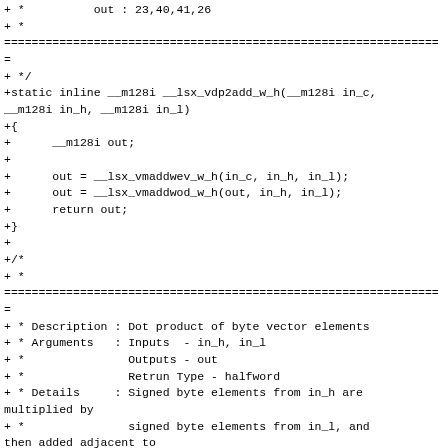+ *          out : 23,40,41,26
+ *
=============================
+ */
+static inline __m128i __lsx_vdp2add_w_h(__m128i in_c,
__m128i in_h, __m128i in_l)
+{
+      __m128i out;
+
+      out = __lsx_vmaddwev_w_h(in_c, in_h, in_l);
+      out = __lsx_vmaddwod_w_h(out, in_h, in_l);
+      return out;
+}
+
+/*
+ *
=============================
+ * Description : Dot product of byte vector elements
+ * Arguments   : Inputs  - in_h, in_l
+ *               Outputs - out
+ *               Retrun Type - halfword
+ * Details     : Signed byte elements from in_h are multiplied by
+ *               signed byte elements from in_l, and then added adjacent to
+ *               each other to get results with the twice size of input.
+ * Example     : out = __lsx_vdp2_h_b(in_h, in_l)
+ *        in_h : 1,2,3,4, 5,6,7,8, 1,2,3,4, 5,6,7,8
+ *        in_l : 8,7,6,5, 4,3,2,1, 8,7,6,5, 4,3,2,1
+ *         out : 22,28,26,26 ...